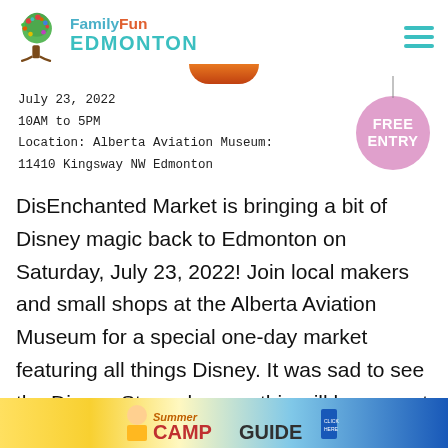[Figure (logo): Family Fun Edmonton logo with colorful tree and teal text]
July 23, 2022
10AM to 5PM
Location: Alberta Aviation Museum:
11410 Kingsway NW Edmonton
[Figure (infographic): Pink circle badge with FREE ENTRY text and vertical line above]
DisEnchanted Market is bringing a bit of Disney magic back to Edmonton on Saturday, July 23, 2022! Join local makers and small shops at the Alberta Aviation Museum for a special one-day market featuring all things Disney. It was sad to see the Disney Store close so this will be a great chance to find some fun new products with all your favourite characters!
[Figure (infographic): Summer Camp Guide banner advertisement at bottom of page]